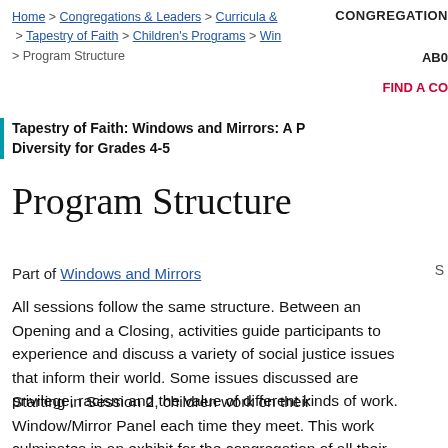CONGREGATION
Home > Congregations & Leaders > Curricula & > Tapestry of Faith > Children's Programs > Win > Program Structure
ABO
FIND A CO
Tapestry of Faith: Windows and Mirrors: A P Diversity for Grades 4-5
Program Structure
Part of Windows and Mirrors
All sessions follow the same structure. Between an Opening and a Closing, activities guide participants to experience and discuss a variety of social justice issues that inform their world. Some issues discussed are privilege, racism and the value of different kinds of work.
Starting in Session 2, children work on their Window/Mirror Panel each time they meet. This work culminates in an exhibit for the congregation of all their panels together